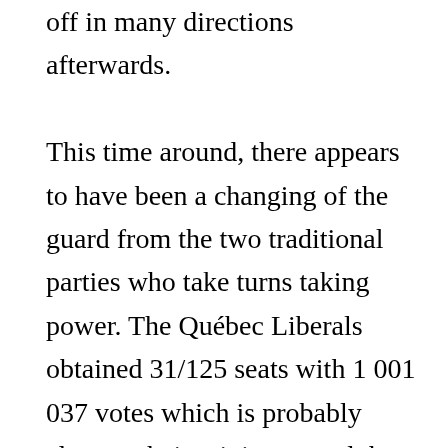off in many directions afterwards.

This time around, there appears to have been a changing of the guard from the two traditional parties who take turns taking power. The Québec Liberals obtained 31/125 seats with 1 001 037 votes which is probably close to their minimum and the Parti Québécois obtained a historic low of 10/125 seats with 687 995 votes, its lowest score in forty years. This may be the last election of the PQ.